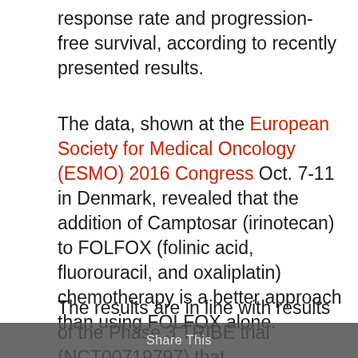response rate and progression-free survival, according to recently presented results.
The data, shown at the European Society for Medical Oncology (ESMO) 2016 Congress Oct. 7-11 in Denmark, revealed that the addition of Camptosar (irinotecan) to FOLFOX (folinic acid, fluorouracil, and oxaliplatin) chemotherapy is a better approach than using FOLFOX alone.
The results are in line with results of the Phase 3 TRIBE trial (NCT00719797) that
Share This